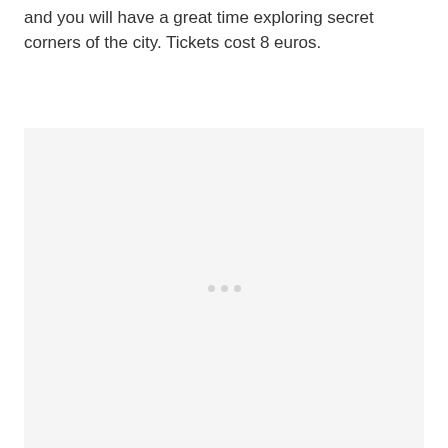and you will have a great time exploring secret corners of the city. Tickets cost 8 euros.
[Figure (photo): Light gray placeholder image area with faint dots in the center, taking up the lower portion of the page.]